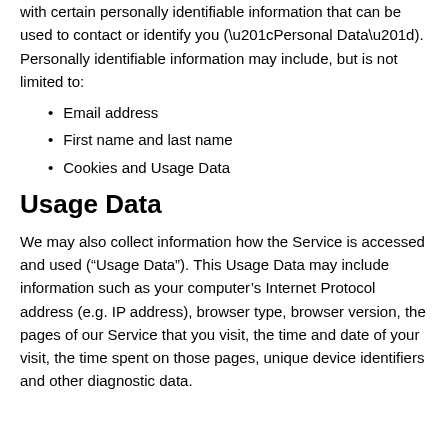with certain personally identifiable information that can be used to contact or identify you (“Personal Data”). Personally identifiable information may include, but is not limited to:
Email address
First name and last name
Cookies and Usage Data
Usage Data
We may also collect information how the Service is accessed and used (“Usage Data”). This Usage Data may include information such as your computer’s Internet Protocol address (e.g. IP address), browser type, browser version, the pages of our Service that you visit, the time and date of your visit, the time spent on those pages, unique device identifiers and other diagnostic data.